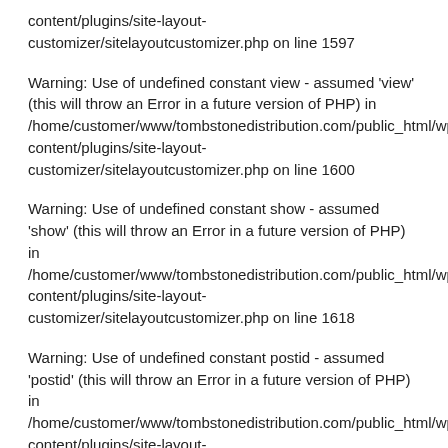content/plugins/site-layout-customizer/sitelayoutcustomizer.php on line 1597
Warning: Use of undefined constant view - assumed 'view' (this will throw an Error in a future version of PHP) in /home/customer/www/tombstonedistribution.com/public_html/wp-content/plugins/site-layout-customizer/sitelayoutcustomizer.php on line 1600
Warning: Use of undefined constant show - assumed 'show' (this will throw an Error in a future version of PHP) in /home/customer/www/tombstonedistribution.com/public_html/wp-content/plugins/site-layout-customizer/sitelayoutcustomizer.php on line 1618
Warning: Use of undefined constant postid - assumed 'postid' (this will throw an Error in a future version of PHP) in /home/customer/www/tombstonedistribution.com/public_html/wp-content/plugins/site-layout-customizer/sitelayoutcustomizer.php on line 756
Warning: Use of undefined constant catnotin - assumed 'catnotin' (this will throw an Error in a future version of PHP) in /home/customer/www/tombstonedistribution.com/public_html/wp-...